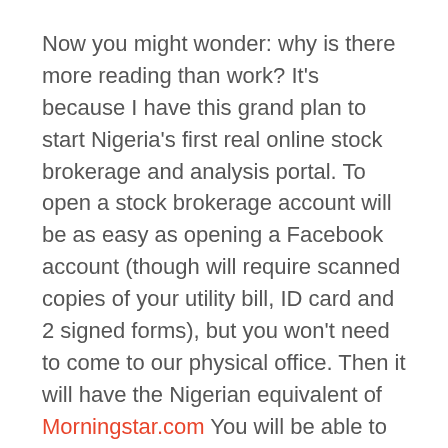Now you might wonder: why is there more reading than work? It's because I have this grand plan to start Nigeria's first real online stock brokerage and analysis portal. To open a stock brokerage account will be as easy as opening a Facebook account (though will require scanned copies of your utility bill, ID card and 2 signed forms), but you won't need to come to our physical office. Then it will have the Nigerian equivalent of Morningstar.com You will be able to do all the stock analysis and the comparisons you want right on the site. I have already begun gathering the raw data I need. It's my big step to achieving a much bigger goal, to someday start a hedge fund.
But why don't I just find someone to build the software and focus on the business part? Well, there are 2 reasons: